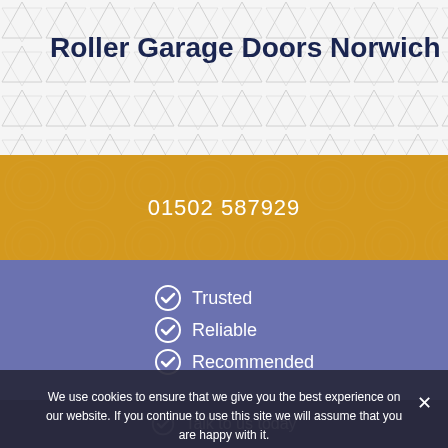Roller Garage Doors Norwich
01502 587929
Trusted
Reliable
Recommended
Talk to us today
We use cookies to ensure that we give you the best experience on our website. If you continue to use this site we will assume that you are happy with it.
Accept
Decline
Anglia Door Serv... > Garage Door > Norwich > Roller Garage Doors Norwich